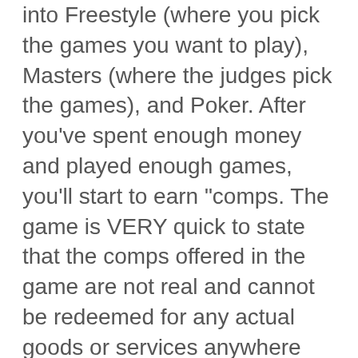into Freestyle (where you pick the games you want to play), Masters (where the judges pick the games), and Poker. After you've spent enough money and played enough games, you'll start to earn "comps. The game is VERY quick to state that the comps offered in the game are not real and cannot be redeemed for any actual goods or services anywhere (this is plastered on the help screen for the comps). The in-game comps are kind of a cool touch; after you've earned them all, they allow you to play in the High Rollers room.
Want more highlights and less talk? get the latest news coverage for your favorite sports, players, and teams on cbs sports hq. Read latest breaking news, updates, and headlines. The province offers information on latest national and international events &amp; more. Play lottery online on approved sites in 2022. Specialist blocking software